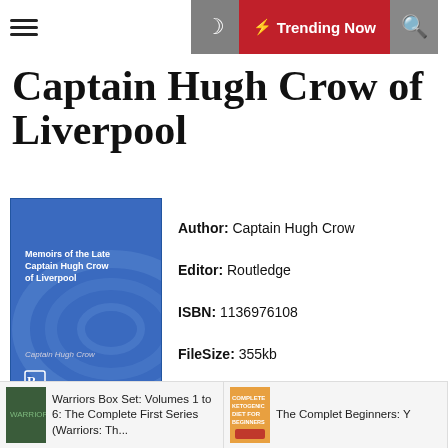Captain Hugh Crow of Liverpool
Captain Hugh Crow of Liverpool
[Figure (illustration): Blue book cover of Memoirs of the Late Captain Hugh Crow of Liverpool by Captain Hugh Crow, Routledge publisher]
Author: Captain Hugh Crow
Editor: Routledge
ISBN: 1136976108
FileSize: 355kb
File Format: Pdf
Read: 355
READ BOOK
Memoirs of the Late Captain Hugh Crow of Liverpool by Captain Hugh Crow Summary
[Figure (screenshot): Bottom bar with book thumbnails: Warriors Box Set and Complete Ketogenic Diet for Beginners]
Warriors Box Set: Volumes 1 to 6: The Complete First Series (Warriors: Th...
The Complete Ketogenic Diet for Beginners: Y